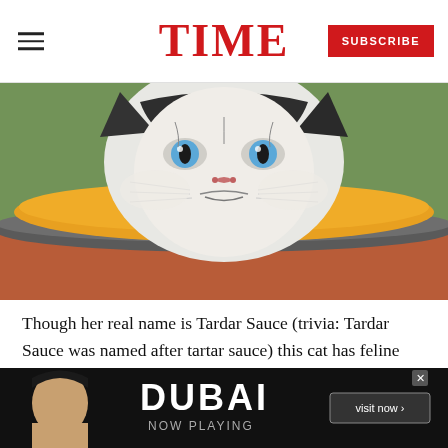TIME | SUBSCRIBE
[Figure (photo): Grumpy Cat (Tardar Sauce) sitting in a round orange-cushioned metal pot/planter, looking grumpy, with blue eyes, white and dark grey fur, green blurred background.]
Though her real name is Tardar Sauce (trivia: Tardar Sauce was named after tartar sauce) this cat has feline dwarfism and an underbite, which makes it look grumpy. Its Facebook page has more than 8 million Likes. It's been on the cover of New York magazine. It has it's own wax statue at Madame Tussauds...
[Figure (other): Advertisement banner for DUBAI - NOW PLAYING, with a woman's face visible and 'visit now >' button.]